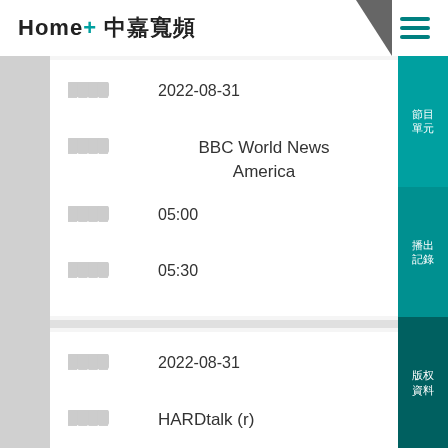Home+ 中嘉寬頻
| 欄位 | 內容 |
| --- | --- |
| ████ | 2022-08-31 |
| ████ | BBC World News America |
| ████ | 05:00 |
| ████ | 05:30 |
| 欄位 | 內容 |
| --- | --- |
| ████ | 2022-08-31 |
| ████ | HARDtalk (r) |
| ████ | 05:30 |
| ████ | 06:00 |